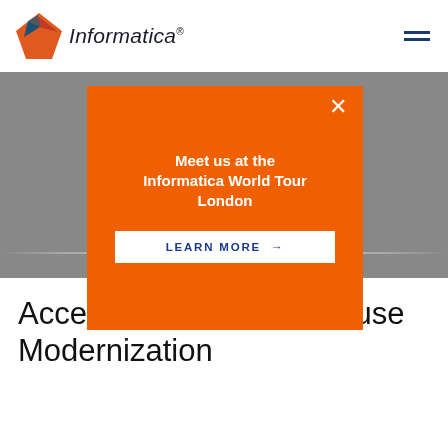Informatica
[Figure (infographic): Orange modal popup with close button (×), bold white text 'Meet us at the Informatica World Tour London', and a white button labeled 'LEARN MORE →']
Accelerate Data Warehouse Modernization